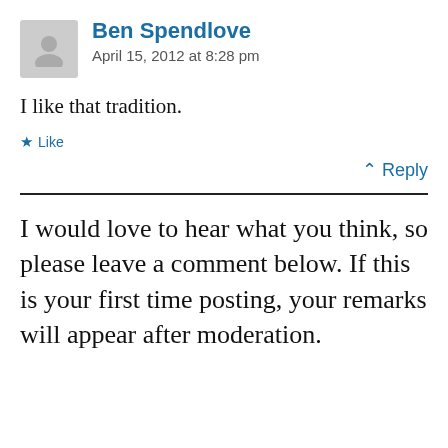Ben Spendlove
April 15, 2012 at 8:28 pm
I like that tradition.
★ Like
↑ Reply
I would love to hear what you think, so please leave a comment below. If this is your first time posting, your remarks will appear after moderation.